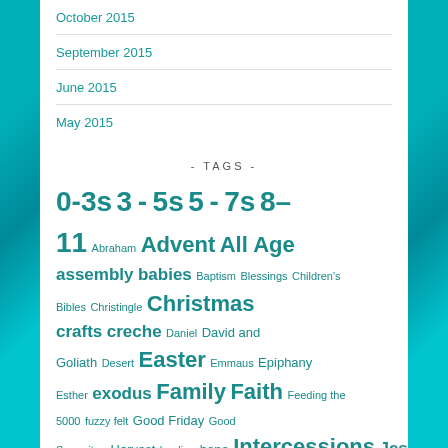October 2015
September 2015
June 2015
May 2015
- TAGS -
0-3s 3-5s 5-7s 8-11 Abraham Advent All Age assembly babies Baptism Blessings Children's Bibles Christingle Christmas crafts creche Daniel David and Goliath Desert Easter Emmaus Epiphany Esther exodus Family Faith Feeding the 5000 fuzzy felt Good Friday Good Samaritan Harvest healing hope Intercessions Jesus calms the storm Junior